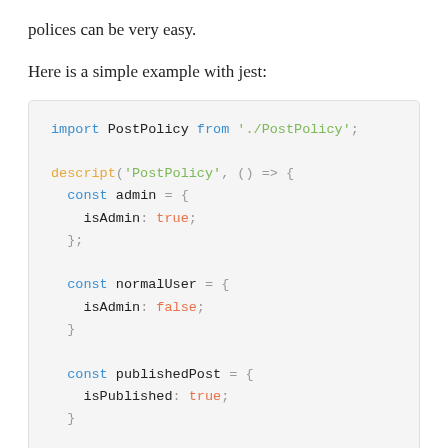polices can be very easy.
Here is a simple example with jest:
[Figure (screenshot): Code block showing JavaScript test setup using jest with PostPolicy import, descript block, and const variable declarations for admin, normalUser, publishedPost, and unpublishedPost with isAdmin and isPublished properties.]